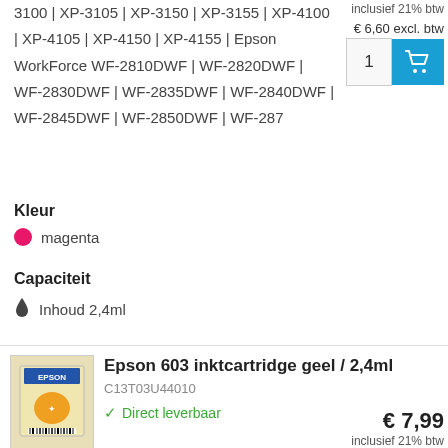3100 | XP-3105 | XP-3150 | XP-3155 | XP-4100 | XP-4105 | XP-4150 | XP-4155 | Epson WorkForce WF-2810DWF | WF-2820DWF | WF-2830DWF | WF-2835DWF | WF-2840DWF | WF-2845DWF | WF-2850DWF | WF-287
inclusief 21% btw
€ 6,60 excl. btw
Kleur
magenta
Capaciteit
Inhoud 2,4ml
Epson 603 inktcartridge geel / 2,4ml
C13T03U44010
Direct leverbaar
Geschikt voor de Epson Expression Home XP-2100 | XP-2105 | XP-2150 | XP-2155 | XP-3100 | XP-3105 | XP-3150 | XP-3155 | XP-4100
€ 7,99
inclusief 21% btw